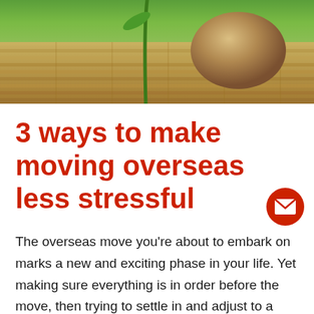[Figure (photo): Zen-style photo showing a smooth brown stone balanced on a bamboo mat with green plant stem, warm natural tones.]
3 ways to make moving overseas less stressful
The overseas move you're about to embark on marks a new and exciting phase in your life. Yet making sure everything is in order before the move, then trying to settle in and adjust to a new house, job and language in a completely different country may be